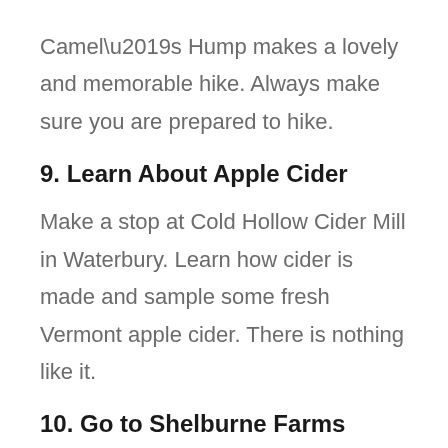Camel’s Hump makes a lovely and memorable hike. Always make sure you are prepared to hike.
9. Learn About Apple Cider
Make a stop at Cold Hollow Cider Mill in Waterbury. Learn how cider is made and sample some fresh Vermont apple cider. There is nothing like it.
10. Go to Shelburne Farms